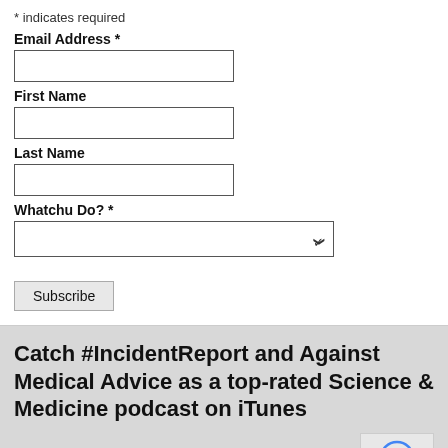* indicates required
Email Address *
First Name
Last Name
Whatchu Do? *
Subscribe
Catch #IncidentReport and Against Medical Advice as a top-rated Science & Medicine podcast on iTunes
Don't wanna use iTunes? Stream us on Soundcloud or Stitcher.